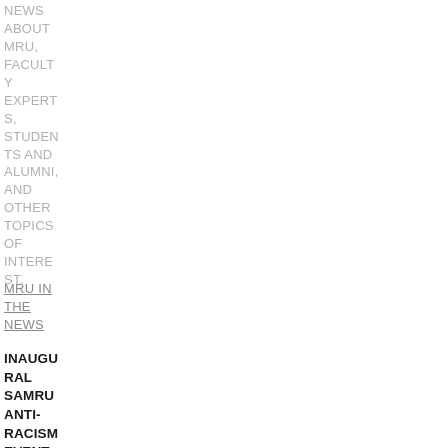NEWS ABOUT MRU, FACULTY EXPERTS, STUDENTS AND ALUMNI, AND OTHER TOPICS OF INTEREST.
MRU IN THE NEWS
INAUGURAL SAMRU ANTI-RACISM EVENT INVITES